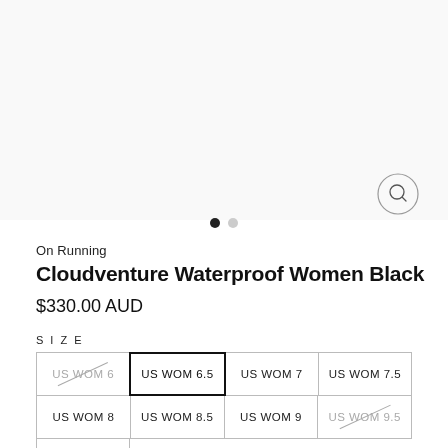[Figure (photo): Product image area for Cloudventure Waterproof Women Black shoe, white/light background]
On Running
Cloudventure Waterproof Women Black
$330.00 AUD
SIZE
US WOM 6 (unavailable)
US WOM 6.5 (selected)
US WOM 7
US WOM 7.5
US WOM 8
US WOM 8.5
US WOM 9
US WOM 9.5 (unavailable)
US WOM 10